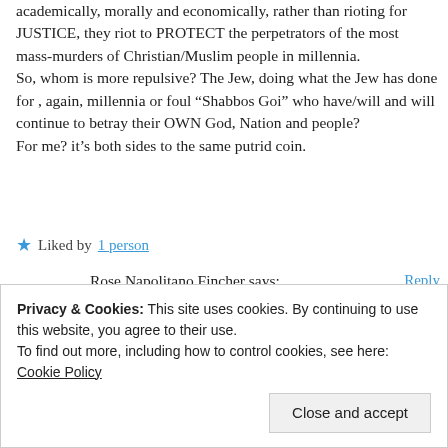academically, morally and economically, rather than rioting for JUSTICE, they riot to PROTECT the perpetrators of the most mass-murders of Christian/Muslim people in millennia.
So, whom is more repulsive? The Jew, doing what the Jew has done for , again, millennia or foul “Shabbos Goi” who have/will and will continue to betray their OWN God, Nation and people?
For me? it’s both sides to the same putrid coin.
★ Liked by 1 person
Rose Napolitano Fincher says:
December 10, 2018 at 8:58 PM
EXACTLY!!
(and she weeps!!)
Reply
Privacy & Cookies: This site uses cookies. By continuing to use this website, you agree to their use.
To find out more, including how to control cookies, see here: Cookie Policy
Close and accept